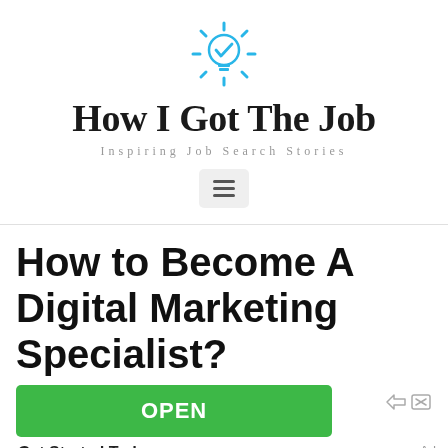[Figure (logo): Light bulb icon with a checkmark inside, cyan/blue color, with rays around it — website logo icon]
How I Got The Job
Inspiring Job Search Stories
[Figure (other): Hamburger menu button (three horizontal lines) in a gray rounded box]
How to Become A Digital Marketing Specialist?
[Figure (other): Green OPEN button advertisement banner with ad controls (arrow and X icons) in top right]
Get Started Today
Ad